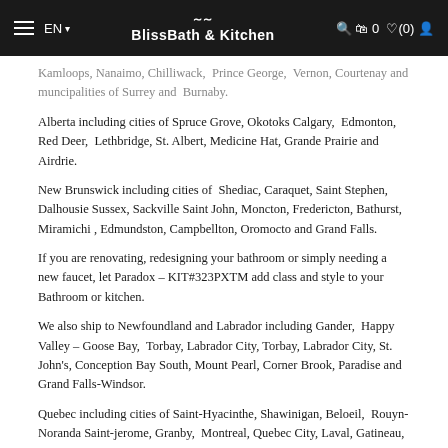EN | BlissBath & Kitchen | Search Cart 0 Wishlist (0) Account
Kamloops, Nanaimo, Chilliwack, Prince George, Vernon, Courtenay and muncipalities of Surrey and Burnaby.
Alberta including cities of Spruce Grove, Okotoks Calgary, Edmonton, Red Deer, Lethbridge, St. Albert, Medicine Hat, Grande Prairie and Airdrie.
New Brunswick including cities of Shediac, Caraquet, Saint Stephen, Dalhousie Sussex, Sackville Saint John, Moncton, Fredericton, Bathurst, Miramichi , Edmundston, Campbellton, Oromocto and Grand Falls.
If you are renovating, redesigning your bathroom or simply needing a new faucet, let Paradox – KIT#323PXTM add class and style to your Bathroom or kitchen.
We also ship to Newfoundland and Labrador including Gander, Happy Valley – Goose Bay, Torbay, Labrador City, Torbay, Labrador City, St. John's, Conception Bay South, Mount Pearl, Corner Brook, Paradise and Grand Falls-Windsor.
Quebec including cities of Saint-Hyacinthe, Shawinigan, Beloeil, Rouyn-Noranda Saint-jerome, Granby, Montreal, Quebec City, Laval, Gatineau,